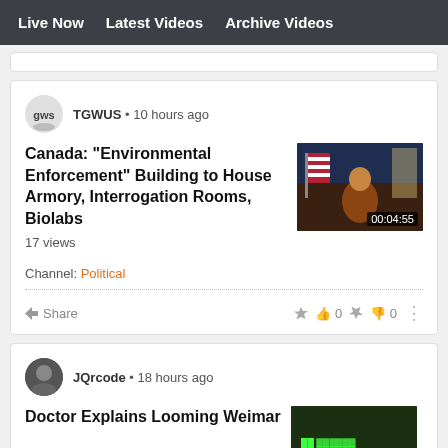Live Now  Latest Videos  Archive Videos
TGWUS • 10 hours ago
Canada: "Environmental Enforcement" Building to House Armory, Interrogation Rooms, Biolabs
17 views
[Figure (screenshot): Video thumbnail showing a man in a red shirt with an American flag in the background, duration 00:04:55]
Channel: Political
Share  👍 0  👎 0
JQrcode • 18 hours ago
Doctor Explains Looming Weimar